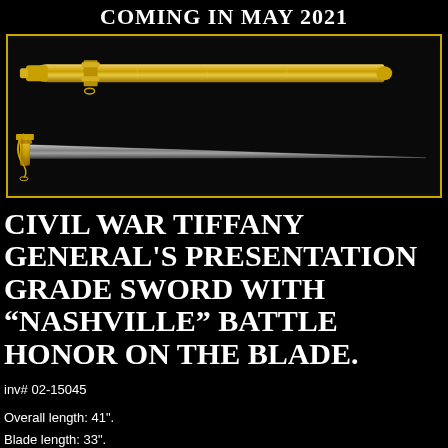COMING IN MAY 2021
[Figure (photo): Civil War Tiffany General's presentation grade sword shown in two views against black background: top view shows gold/gilded scabbard, bottom view shows the sword with ornate guard and long blade, enclosed in a gold-bordered rectangle]
CIVIL WAR TIFFANY GENERAL'S PRESENTATION GRADE SWORD WITH “NASHVILLE” BATTLE HONOR ON THE BLADE.
inv# 02-15045
Overall length: 41”.
Blade length: 33”.